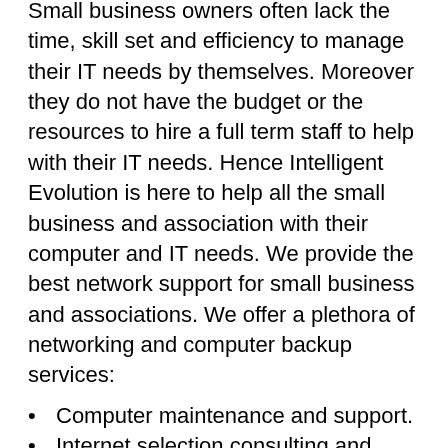Small business owners often lack the time, skill set and efficiency to manage their IT needs by themselves. Moreover they do not have the budget or the resources to hire a full term staff to help with their IT needs. Hence Intelligent Evolution is here to help all the small business and association with their computer and IT needs. We provide the best network support for small business and associations. We offer a plethora of networking and computer backup services:
Computer maintenance and support.
Internet selection consulting and network support.
Remote managed service.
Server Virtualization.
Internet Security solutions.
Data Backup and disaster recovery and backup services.